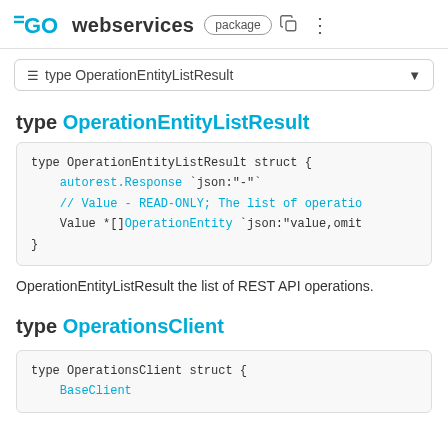GO webservices package
≡ type OperationEntityListResult
type OperationEntityListResult
OperationEntityListResult the list of REST API operations.
type OperationsClient